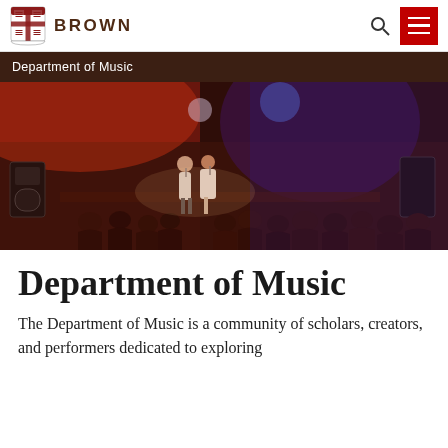BROWN
Department of Music
[Figure (photo): Concert scene showing two performers on stage with microphones, performing in front of an audience in a dark venue with colored stage lighting (red, blue, purple). The crowd faces the stage, viewed from behind.]
Department of Music
The Department of Music is a community of scholars, creators, and performers dedicated to exploring